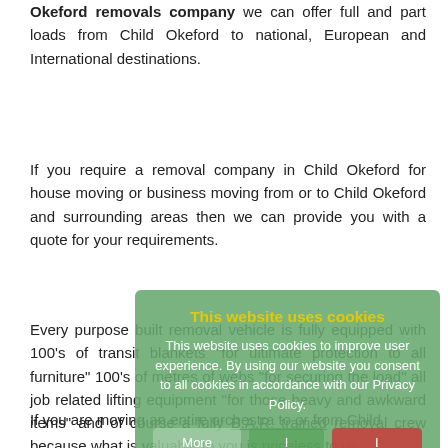Okeford removals company we can offer full and part loads from Child Okeford to national, European and International destinations.
If you require a removal company in Child Okeford for house moving or business moving from or to Child Okeford and surrounding areas then we can provide you with a quote for your requirements.
Every purpose built removal vehicle is fully equipped with 100's of transit blankets "for ultimate protection to all furniture" 100's of metres of webs "for securing the load" all job related lifting equipment "for those heavy and awkward items" and of course a fully B.A.R. trained removal crew because what is valuable to you is priceless to us.
If you are moving an entire orchestra to or from Child
[Figure (screenshot): Cookie consent popup overlay with green background. Title 'This website uses cookies' in yellow. Body text explaining cookie usage. Buttons: 'More Info', 'I agree' (green), 'I disagree' (red), and 'Read more' button.]